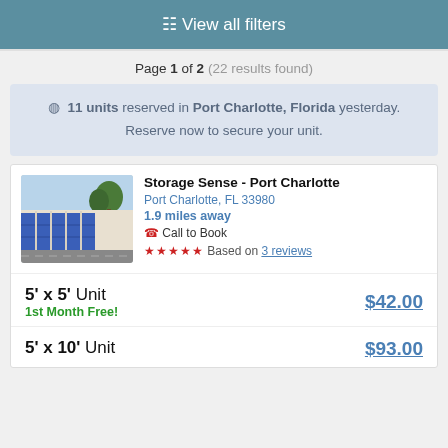View all filters
Page 1 of 2 (22 results found)
11 units reserved in Port Charlotte, Florida yesterday. Reserve now to secure your unit.
Storage Sense - Port Charlotte
Port Charlotte, FL 33980
1.9 miles away
Call to Book
Based on 3 reviews
5' x 5' Unit — 1st Month Free! — $42.00
5' x 10' Unit — $93.00